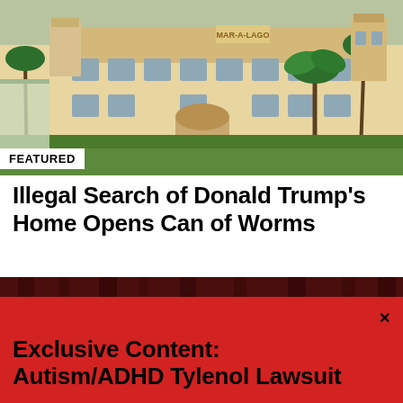[Figure (photo): Aerial or front view of Mar-a-Lago estate, a large Mediterranean-style building with palm trees and green lawn]
FEATURED
Illegal Search of Donald Trump’s Home Opens Can of Worms
[Figure (photo): Man with short brown hair wearing black headphones and a dark shirt, sitting against a dark red curtain background]
Exclusive Content: Autism/ADHD Tylenol Lawsuit